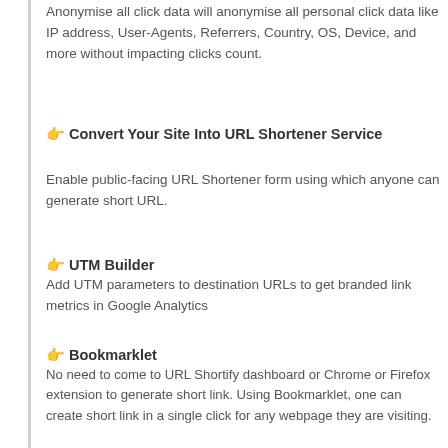Anonymise all click data will anonymise all personal click data like IP address, User-Agents, Referrers, Country, OS, Device, and more without impacting clicks count.
👉 Convert Your Site Into URL Shortener Service
Enable public-facing URL Shortener form using which anyone can generate short URL.
👉 UTM Builder
Add UTM parameters to destination URLs to get branded link metrics in Google Analytics
👉 Bookmarklet
No need to come to URL Shortify dashboard or Chrome or Firefox extension to generate short link. Using Bookmarklet, one can create short link in a single click for any webpage they are visiting.